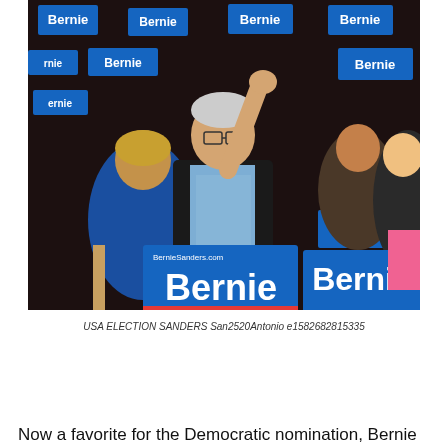[Figure (photo): Bernie Sanders at a campaign rally in San Antonio, raising his fist with crowd holding Bernie campaign signs in the background. His wife Jane is beside him.]
USA ELECTION SANDERS San2520Antonio e1582682815335
Now a favorite for the Democratic nomination, Bernie